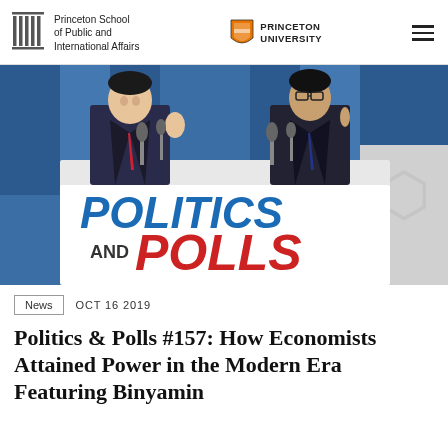Princeton School of Public and International Affairs | PRINCETON UNIVERSITY
[Figure (photo): Hero image for Politics and Polls podcast episode #157. Two men in suits at a press conference podium with microphones, smiling. Large text overlay reads 'POLITICS AND POLLS' with POLITICS in blue and POLLS in red.]
News   OCT 16 2019
Politics & Polls #157: How Economists Attained Power in the Modern Era Featuring Binyamin